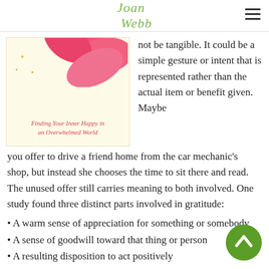Joan Webb
[Figure (illustration): Book cover for 'Finding Your Inner Happy in an Overwhelmed World' with pink flower at top on cream background]
not be tangible. It could be a simple gesture or intent that is represented rather than the actual item or benefit given. Maybe you offer to drive a friend home from the car mechanic's shop, but instead she chooses the time to sit there and read. The unused offer still carries meaning to both involved. One study found three distinct parts involved in gratitude:
• A warm sense of appreciation for something or somebody
• A sense of goodwill toward that thing or person
• A resulting disposition to act positively